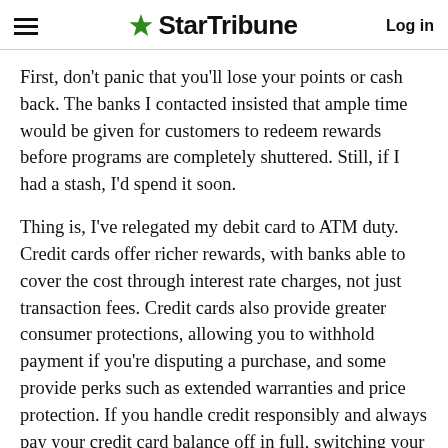StarTribune — Log in
First, don't panic that you'll lose your points or cash back. The banks I contacted insisted that ample time would be given for customers to redeem rewards before programs are completely shuttered. Still, if I had a stash, I'd spend it soon.
Thing is, I've relegated my debit card to ATM duty. Credit cards offer richer rewards, with banks able to cover the cost through interest rate charges, not just transaction fees. Credit cards also provide greater consumer protections, allowing you to withhold payment if you're disputing a purchase, and some provide perks such as extended warranties and price protection. If you handle credit responsibly and always pay your credit card balance off in full, switching your payment choice could make sense.
Finally, this is the era of value-conscious consumers -- everyone is vying alty program of